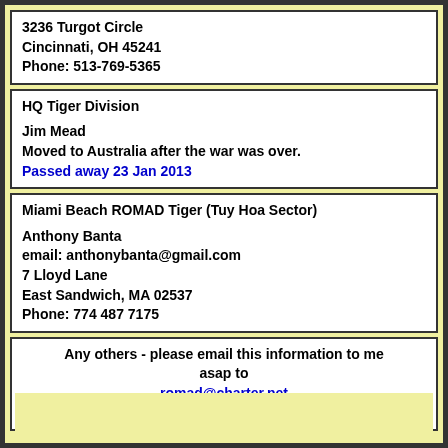3236 Turgot Circle
Cincinnati, OH 45241
Phone: 513-769-5365
HQ Tiger Division

Jim Mead
Moved to Australia after the war was over.
Passed away 23 Jan 2013
Miami Beach ROMAD Tiger (Tuy Hoa Sector)

Anthony Banta
email: anthonybanta@gmail.com
7 Lloyd Lane
East Sandwich, MA 02537
Phone: 774 487 7175
Any others - please email this information to me asap to romad@charter.net for inclusion in this listing.